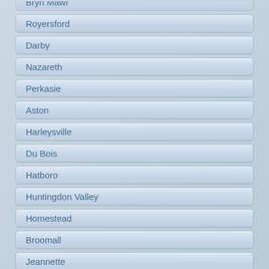Bryn Mawr
Royersford
Darby
Nazareth
Perkasie
Aston
Harleysville
Du Bois
Hatboro
Huntingdon Valley
Homestead
Broomall
Jeannette
Warren